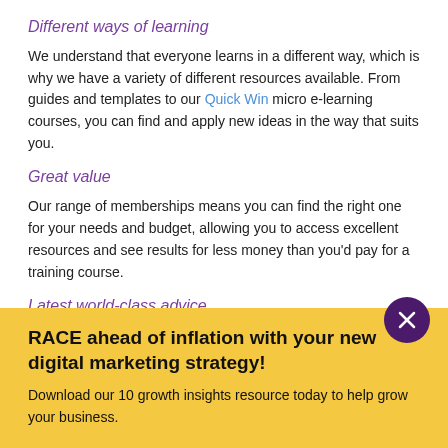Different ways of learning
We understand that everyone learns in a different way, which is why we have a variety of different resources available. From guides and templates to our Quick Win micro e-learning courses, you can find and apply new ideas in the way that suits you.
Great value
Our range of memberships means you can find the right one for your needs and budget, allowing you to access excellent resources and see results for less money than you'd pay for a training course.
Latest world-class advice
As well as our co-founder - recognized digital marketing guru, Dr Dave Chaffey, we have assembled a team of
RACE ahead of inflation with your new digital marketing strategy!
Download our 10 growth insights resource today to help grow your business.